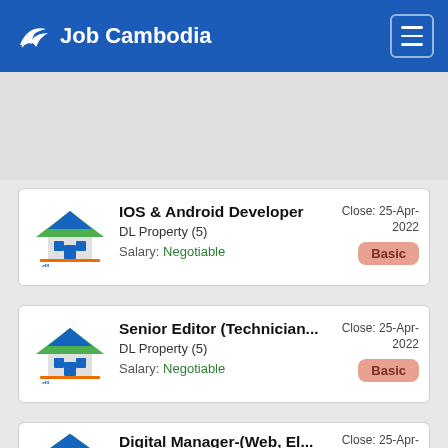Job Cambodia
IOS & Android Developer
DL Property (5)
Salary: Negotiable
Close: 25-Apr-2022
Basic
Senior Editor (Technician...
DL Property (5)
Salary: Negotiable
Close: 25-Apr-2022
Basic
Digital Manager-(Web, El...
Close: 25-Apr-
Basic